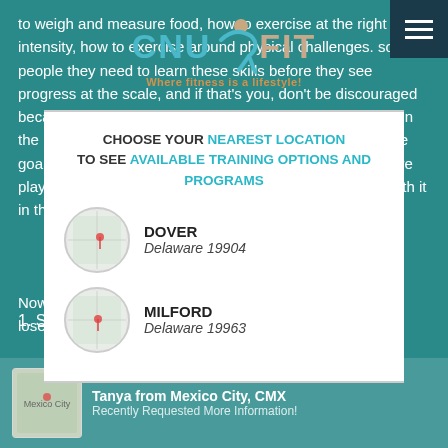to weigh and measure food, how to exercise at the right intensity, how to exercise around physical challenges. some people they need to learn these skills before they see progress at the scale, and if that's you, don't be discouraged because you will see some progress as you make moves in the right direction, but it takes longer to reach your ultimate goal. Fat loss is a learning process, a weight loss and we're playing long ball, that small amount of learning time is worth it in the end.
[Figure (logo): CNU FIT logo with figure icon and tagline 'Where fitness is a lifestyle!']
CHOOSE YOUR NEAREST LOCATION TO SEE AVAILABLE TRAINING OPTIONS AND PROGRAMS
DOVER
Delaware 19904
MILFORD
Delaware 19963
1. Set realistic goals
Tanya from Mexico City, CMX
Recently Requested More Information!